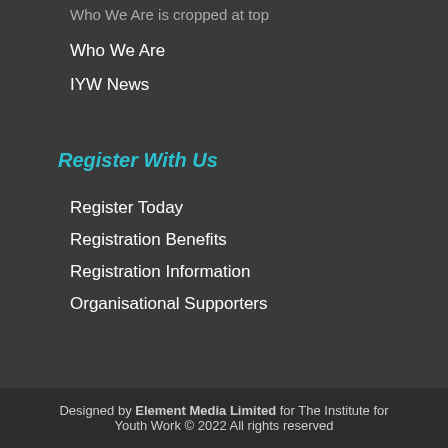Who We Are
IYW News
Register With Us
Register Today
Registration Benefits
Registration Information
Organisational Supporters
Designed by Element Media Limited for The Institute for Youth Work © 2022 All rights reserved